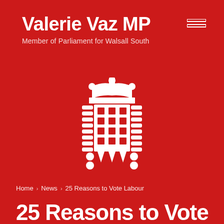Valerie Vaz MP
Member of Parliament for Walsall South
[Figure (logo): UK Parliament Portcullis logo in white on red background]
Home > News > 25 Reasons to Vote Labour
25 Reasons to Vote